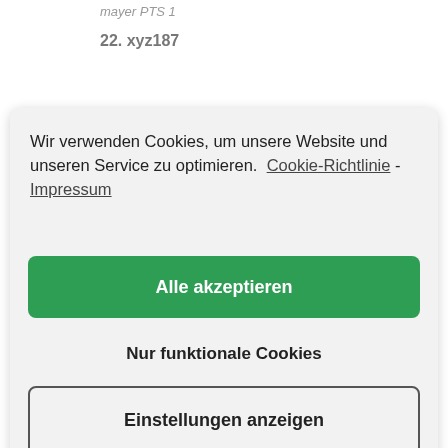Mayer PTS 1
22. xyz187
Wir verwenden Cookies, um unsere Website und unseren Service zu optimieren.  Cookie-Richtlinie -  Impressum
Alle akzeptieren
Nur funktionale Cookies
Einstellungen anzeigen
Arslan PTS
Chakhkiev PTS
Özekler PTS
Jhonson PTS